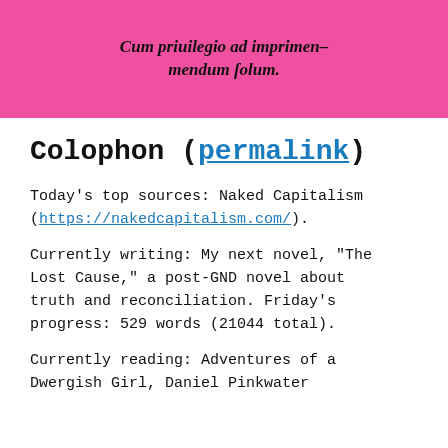[Figure (illustration): Pink/magenta background image with decorative blackletter/old-style italic Latin text reading 'Cum privilegio ad imprimendum solum']
Colophon (permalink)
Today's top sources: Naked Capitalism (https://nakedcapitalism.com/).
Currently writing: My next novel, "The Lost Cause," a post-GND novel about truth and reconciliation. Friday's progress: 529 words (21044 total).
Currently reading: Adventures of a Dwergish Girl, Daniel Pinkwater